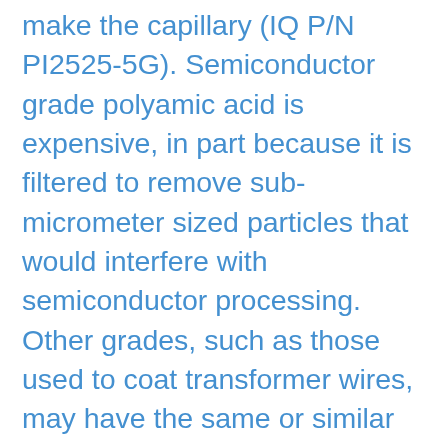make the capillary (IQ P/N PI2525-5G). Semiconductor grade polyamic acid is expensive, in part because it is filtered to remove sub-micrometer sized particles that would interfere with semiconductor processing. Other grades, such as those used to coat transformer wires, may have the same or similar polyamic acid structure and chemistry (although typically lower in average molecular weight), but are not filtered and may harbor damaging particles. These lower grades of polyamic acid resin typically use a mixed solvent system to lower costs even further, with additives identified as aromatic hydrocarbons, xylene and other common organic solvents. Check the MSDS. If it lists any solvent other than NMP, it is probably not semiconductor grade or it's not BTDA-ODA-MPD: